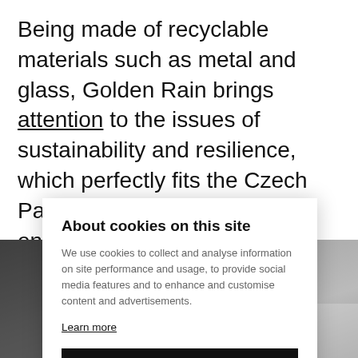Being made of recyclable materials such as metal and glass, Golden Rain brings attention to the issues of sustainability and resilience, which perfectly fits the Czech Pavilion's location at the main entrance to the Su[stainability District]
[Figure (photo): Greyscale photo background showing textured surface and golden rain installation elements at bottom]
About cookies on this site
We use cookies to collect and analyse information on site performance and usage, to provide social media features and to enhance and customise content and advertisements.
Learn more
Allow all cookies
Cookie settings